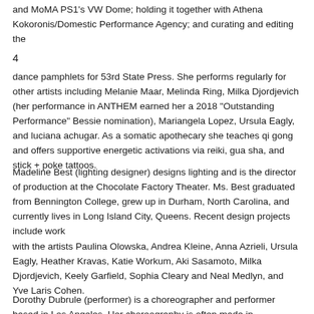and MoMA PS1's VW Dome; holding it together with Athena Kokoronis/Domestic Performance Agency; and curating and editing the
4
dance pamphlets for 53rd State Press. She performs regularly for other artists including Melanie Maar, Melinda Ring, Milka Djordjevich (her performance in ANTHEM earned her a 2018 "Outstanding Performance" Bessie nomination), Mariangela Lopez, Ursula Eagly, and luciana achugar. As a somatic apothecary she teaches qi gong and offers supportive energetic activations via reiki, gua sha, and stick + poke tattoos.
Madeline Best (lighting designer) designs lighting and is the director of production at the Chocolate Factory Theater. Ms. Best graduated from Bennington College, grew up in Durham, North Carolina, and currently lives in Long Island City, Queens. Recent design projects include work
with the artists Paulina Olowska, Andrea Kleine, Anna Azrieli, Ursula Eagly, Heather Kravas, Katie Workum, Aki Sasamoto, Milka Djordjevich, Keely Garfield, Sophia Cleary and Neal Medlyn, and Yve Laris Cohen.
Dorothy Dubrule (performer) is a choreographer and performer based in Los Angeles. Her choreography is often made in